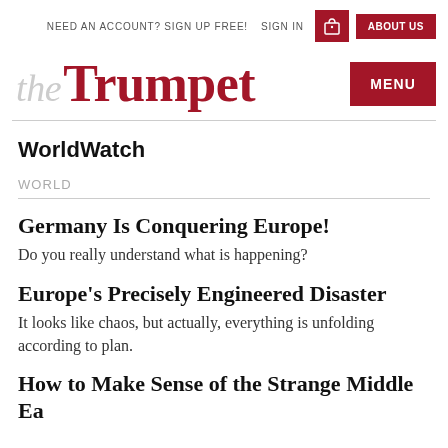NEED AN ACCOUNT? SIGN UP FREE!   SIGN IN   [basket icon]   ABOUT US
theTrumpet
MENU
WorldWatch
WORLD
Germany Is Conquering Europe!
Do you really understand what is happening?
Europe's Precisely Engineered Disaster
It looks like chaos, but actually, everything is unfolding according to plan.
How to Make Sense of the Strange Middle Ea...